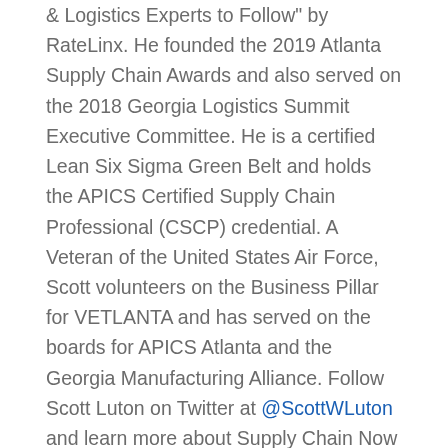& Logistics Experts to Follow" by RateLinx. He founded the 2019 Atlanta Supply Chain Awards and also served on the 2018 Georgia Logistics Summit Executive Committee. He is a certified Lean Six Sigma Green Belt and holds the APICS Certified Supply Chain Professional (CSCP) credential. A Veteran of the United States Air Force, Scott volunteers on the Business Pillar for VETLANTA and has served on the boards for APICS Atlanta and the Georgia Manufacturing Alliance. Follow Scott Luton on Twitter at @ScottWLuton and learn more about Supply Chain Now here:
https://supplychainnowradio.com/